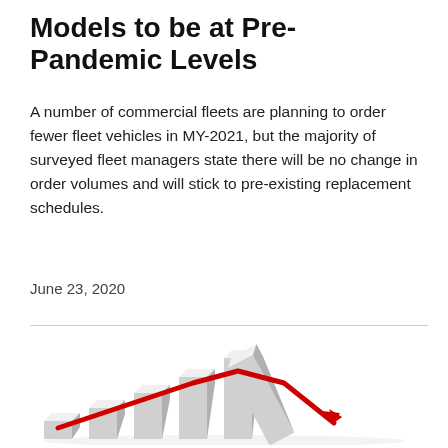Models to be at Pre-Pandemic Levels
A number of commercial fleets are planning to order fewer fleet vehicles in MY-2021, but the majority of surveyed fleet managers state there will be no change in order volumes and will stick to pre-existing replacement schedules.
June 23, 2020
[Figure (illustration): 3D bar chart illustration with white/grey rising bars and a red line that rises then falls sharply downward, symbolizing economic decline after growth. The last bar appears to be falling/toppling.]